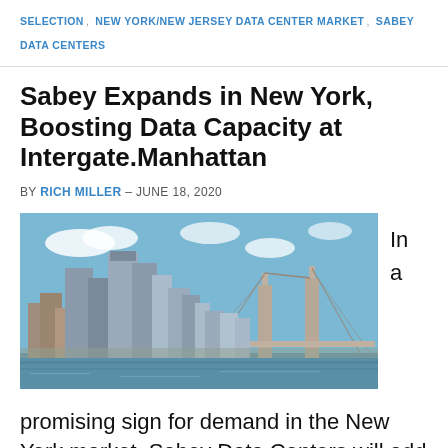SELECTION, NEW YORK/NEW JERSEY DATA CENTER MARKET, SABEY DATA CENTERS
Sabey Expands in New York, Boosting Data Capacity at Intergate.Manhattan
BY RICH MILLER – JUNE 18, 2020
[Figure (photo): Photo of New York skyline with the Brooklyn Bridge in the foreground, taken from the water]
In a promising sign for demand in the New York market, Sabey Data Centers will add